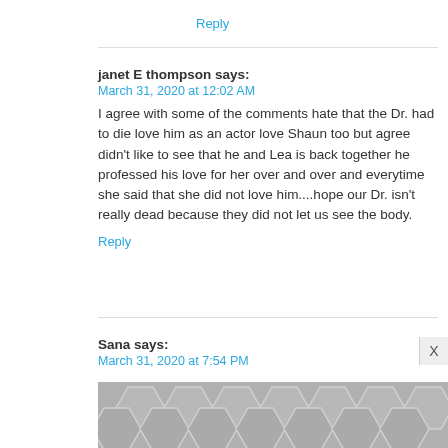Reply
janet E thompson says:
March 31, 2020 at 12:02 AM
I agree with some of the comments hate that the Dr. had to die love him as an actor love Shaun too but agree didn't like to see that he and Lea is back together he professed his love for her over and over and everytime she said that she did not love him....hope our Dr. isn't really dead because they did not let us see the body.
Reply
Sana says:
March 31, 2020 at 7:54 PM
[Figure (illustration): Decorative hexagonal tile pattern in grey tones at the bottom of the page, partially obscuring content]